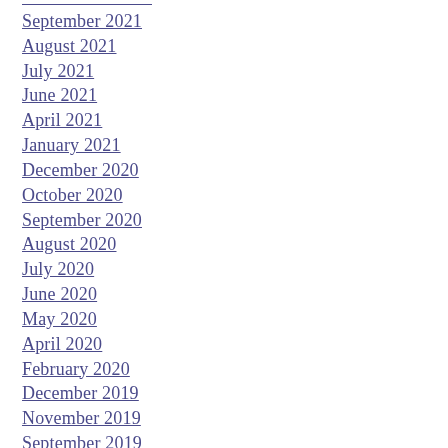September 2021
August 2021
July 2021
June 2021
April 2021
January 2021
December 2020
October 2020
September 2020
August 2020
July 2020
June 2020
May 2020
April 2020
February 2020
December 2019
November 2019
September 2019
August 2019